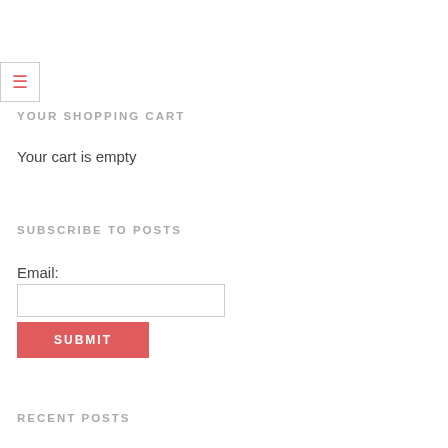[Figure (other): Hamburger menu icon (three horizontal lines) in a bordered box]
YOUR SHOPPING CART
Your cart is empty
SUBSCRIBE TO POSTS
Email:
SUBMIT
RECENT POSTS